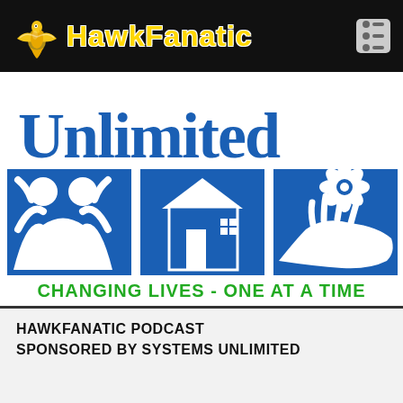HawkFanatic
[Figure (logo): Systems Unlimited logo with 'Unlimited' in blue serif text, three blue square icons (people, house, hand with flower), and green text 'CHANGING LIVES - ONE AT A TIME']
HAWKFANATIC PODCAST
SPONSORED BY SYSTEMS UNLIMITED